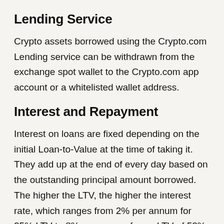Lending Service
Crypto assets borrowed using the Crypto.com Lending service can be withdrawn from the exchange spot wallet to the Crypto.com app account or a whitelisted wallet address.
Interest and Repayment
Interest on loans are fixed depending on the initial Loan-to-Value at the time of taking it. They add up at the end of every day based on the outstanding principal amount borrowed. The higher the LTV, the higher the interest rate, which ranges from 2% per annum for 25% LTV to 8% per annum for an LTV of 50%.